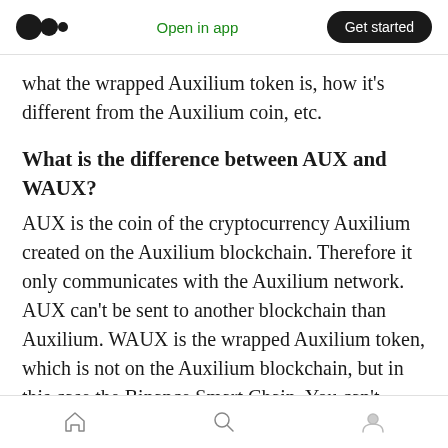Open in app | Get started
what the wrapped Auxilium token is, how it's different from the Auxilium coin, etc.
What is the difference between AUX and WAUX?
AUX is the coin of the cryptocurrency Auxilium created on the Auxilium blockchain. Therefore it only communicates with the Auxilium network. AUX can't be sent to another blockchain than Auxilium. WAUX is the wrapped Auxilium token, which is not on the Auxilium blockchain, but in this case the Binance Smart Chain. You can't send WAUX to an AUX address like you can't
Home | Search | Profile